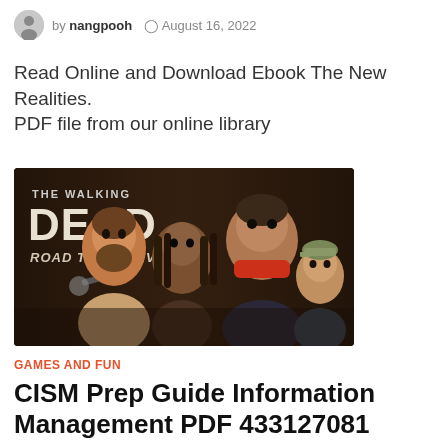by nangpooh  August 16, 2022
Read Online and Download Ebook The New Realities. PDF file from our online library
[Figure (illustration): The Walking Dead: Road to Survival game banner showing four illustrated characters — a bearded man holding a gun, a woman with dreadlocks, a large man with a red scarf, and a young boy wearing a cap — against a dark brown background with game title text.]
GAMES AND FUN
CISM Prep Guide Information Management PDF 433127081